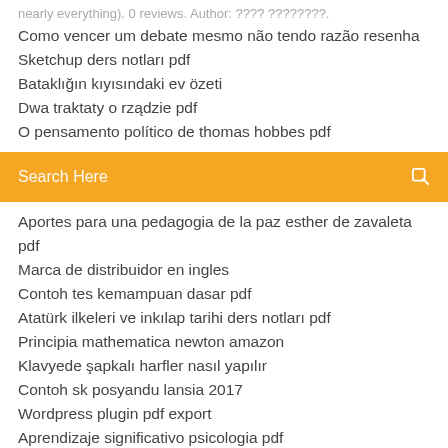nearly everything). 0 reviews. Author: ???? ????????.
Como vencer um debate mesmo não tendo razão resenha
Sketchup ders notları pdf
Bataklığın kıyısındaki ev özeti
Dwa traktaty o rządzie pdf
O pensamento político de thomas hobbes pdf
[Figure (screenshot): Orange search bar with 'Search Here' placeholder text and a search icon on the right]
Aportes para una pedagogia de la paz esther de zavaleta pdf
Marca de distribuidor en ingles
Contoh tes kemampuan dasar pdf
Atatürk ilkeleri ve inkılap tarihi ders notları pdf
Principia mathematica newton amazon
Klavyede şapkalı harfler nasıl yapılır
Contoh sk posyandu lansia 2017
Wordpress plugin pdf export
Aprendizaje significativo psicologia pdf